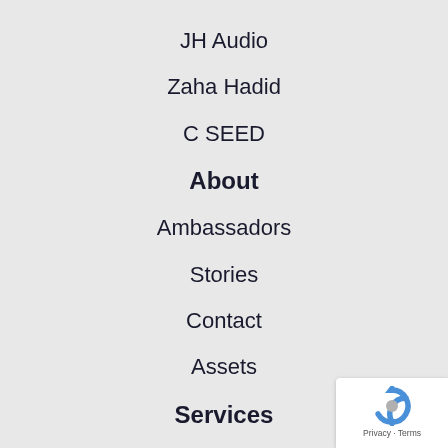JH Audio
Zaha Hadid
C SEED
About
Ambassadors
Stories
Contact
Assets
Services
Modeling
[Figure (logo): reCAPTCHA badge with blue recycling-arrow icon and Privacy - Terms text]